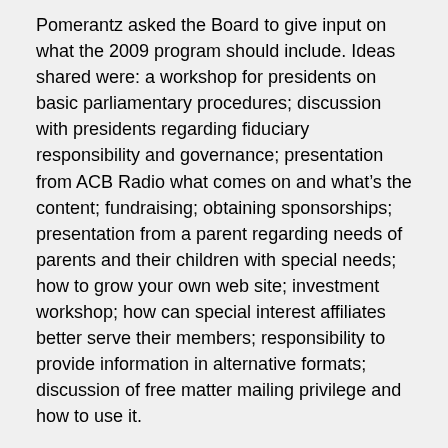Pomerantz asked the Board to give input on what the 2009 program should include. Ideas shared were: a workshop for presidents on basic parliamentary procedures; discussion with presidents regarding fiduciary responsibility and governance; presentation from ACB Radio what comes on and what's the content; fundraising; obtaining sponsorships; presentation from a parent regarding needs of parents and their children with special needs; how to grow your own web site; investment workshop; how can special interest affiliates better serve their members; responsibility to provide information in alternative formats; discussion of free matter mailing privilege and how to use it.
The Board recessed at 5:07 PM.
The Board reconvened on November 16 at 9:05 a.m. At the call of the roll, all members were present except Campbell, Colley, Godino and Trott. Trott had to leave the meeting early, and all other members arrived very soon after roll call.